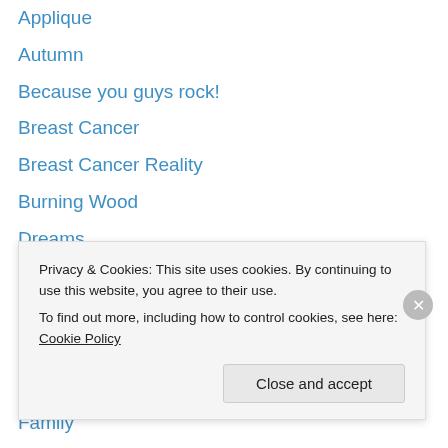Applique
Autumn
Because you guys rock!
Breast Cancer
Breast Cancer Reality
Burning Wood
Dreams
Embroidery
Etsy
Etsy Shop
Fabrics and fabric treatments
Family
Felt
Growing Pains
Privacy & Cookies: This site uses cookies. By continuing to use this website, you agree to their use. To find out more, including how to control cookies, see here: Cookie Policy
Close and accept